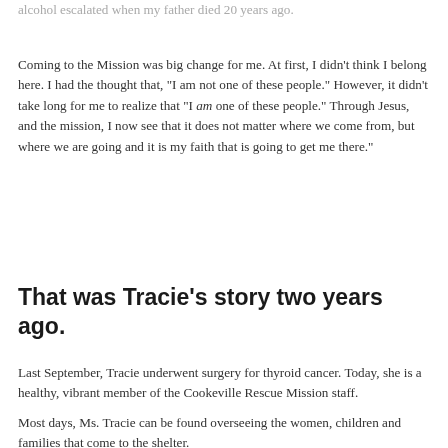alcohol escalated when my father died 20 years ago.
Coming to the Mission was big change for me. At first, I didn't think I belong here. I had the thought that, "I am not one of these people." However, it didn't take long for me to realize that "I am one of these people." Through Jesus, and the mission, I now see that it does not matter where we come from, but where we are going and it is my faith that is going to get me there."
That was Tracie’s story two years ago.
Last September, Tracie underwent surgery for thyroid cancer. Today, she is a healthy, vibrant member of the Cookeville Rescue Mission staff.
Most days, Ms. Tracie can be found overseeing the women, children and families that come to the shelter.